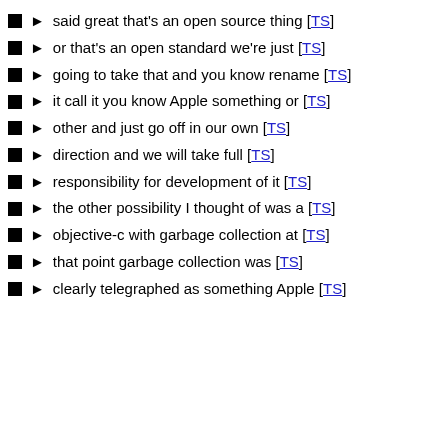said great that's an open source thing [TS]
or that's an open standard we're just [TS]
going to take that and you know rename [TS]
it call it you know Apple something or [TS]
other and just go off in our own [TS]
direction and we will take full [TS]
responsibility for development of it [TS]
the other possibility I thought of was a [TS]
objective-c with garbage collection at [TS]
that point garbage collection was [TS]
clearly telegraphed as something Apple [TS]